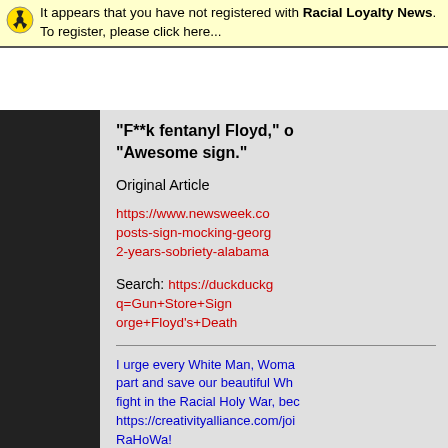It appears that you have not registered with Racial Loyalty News. To register, please click here...
“F**k fentanyl Floyd,” or “Awesome sign.”
Original Article
https://www.newsweek.co posts-sign-mocking-georg 2-years-sobriety-alabama
Search: https://duckduckg q=Gun+Store+Posts+Sign orge+Floyd’s+Death
I urge every White Man, Woma part and save our beautiful Wh fight in the Racial Holy War, bec https://creativityalliance.com/joi RaHoWa!